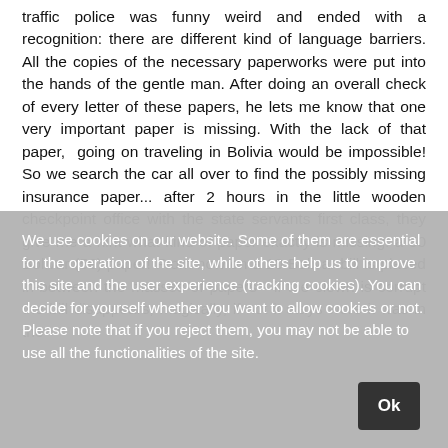traffic police was funny weird and ended with a recognition: there are different kind of language barriers. All the copies of the necessary paperworks were put into the hands of the gentle man. After doing an overall check of every letter of these papers, he lets me know that one very important paper is missing. With the lack of that paper, going on traveling in Bolivia would be impossible! So we search the car all over to find the possibly missing insurance paper... after 2 hours in the little wooden checkpoint office with the state servants first class, they give me a hint what kind of paper exactly is missing: a 50 Bolivar (5€) paper! From now on a 10 Bolivar bill is placed in-between the masses of papers - if the clown is corrupt the bill disappears, magically, if not it stays were it was in the
We use cookies on our website. Some of them are essential for the operation of the site, while others help us to improve this site and the user experience (tracking cookies). You can decide for yourself whether you want to allow cookies or not. Please note that if you reject them, you may not be able to use all the functionalities of the site.